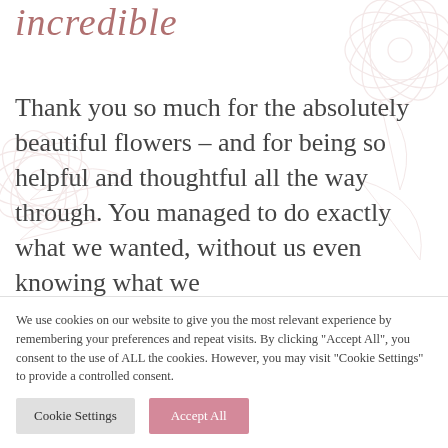incredible
Thank you so much for the absolutely beautiful flowers – and for being so helpful and thoughtful all the way through. You managed to do exactly what we wanted, without us even knowing what we
We use cookies on our website to give you the most relevant experience by remembering your preferences and repeat visits. By clicking "Accept All", you consent to the use of ALL the cookies. However, you may visit "Cookie Settings" to provide a controlled consent.